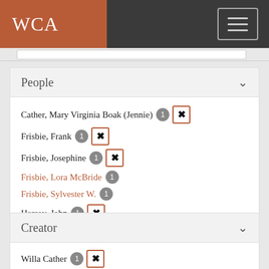WCA
People
Cather, Mary Virginia Boak (Jennie) 1 ✕
Frisbie, Frank 1 ✕
Frisbie, Josephine 1 ✕
Frisbie, Lora McBride 1
Frisbie, Sylvester W. 1
Hersey, John 1 ✕
Platt, Charles J. (Charlie) 1 ✕
See more
Creator
Willa Cather 1 ✕